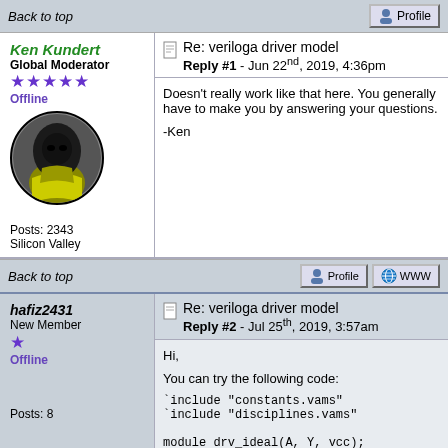Back to top | [Profile button]
Ken Kundert
Global Moderator
Offline
Posts: 2343
Silicon Valley
Re: veriloga driver model
Reply #1 - Jun 22nd, 2019, 4:36pm
Doesn't really work like that here. You generally have to make you by answering your questions.

-Ken
Back to top | [Profile] [WWW]
hafiz2431
New Member
Offline
Posts: 8
Re: veriloga driver model
Reply #2 - Jul 25th, 2019, 3:57am
Hi,

You can try the following code: